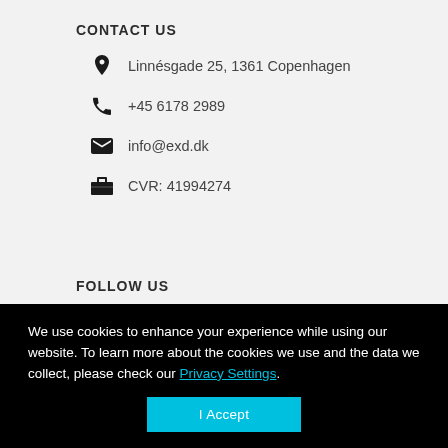CONTACT US
Linnésgade 25, 1361 Copenhagen
+45 6178 2989
info@exd.dk
CVR: 41994274
FOLLOW US
We use cookies to enhance your experience while using our website. To learn more about the cookies we use and the data we collect, please check our Privacy Settings.
I Accept